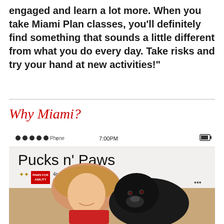engaged and learn a lot more. When you take Miami Plan classes, you'll definitely find something that sounds a little different from what you do every day. Take risks and try your hand at new activities!"
Why Miami?
[Figure (photo): Photo of a smiling woman with blonde hair and a black Labrador dog, posed inside a cardboard frame designed to look like a phone screen showing a 'Pucks n' Paws' event listing. The frame shows dots and 'Phone' label, time '7:00PM', the title 'Pucks n' Paws', and event details including '4pawsmem' and 'Goggin Ice Center'.]